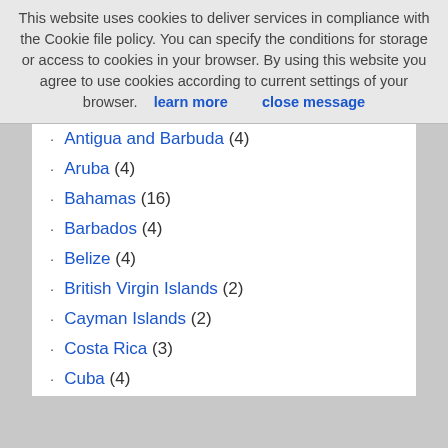This website uses cookies to deliver services in compliance with the Cookie file policy. You can specify the conditions for storage or access to cookies in your browser. By using this website you agree to use cookies according to current settings of your browser. learn more   close message
Antigua and Barbuda (4)
Aruba (4)
Bahamas (16)
Barbados (4)
Belize (4)
British Virgin Islands (2)
Cayman Islands (2)
Costa Rica (3)
Cuba (4)
Dominica (2)
Dominican Republic (3)
Dutch Caribbean – Netherlands Antilles (15)
El Salvador (2)
Grenada (2)